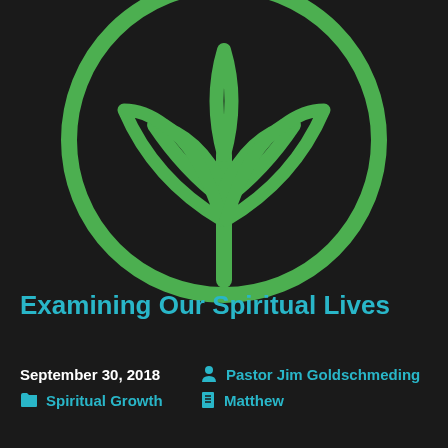[Figure (logo): Green plant/sprout icon inside a circle outline on black background]
Examining Our Spiritual Lives
September 30, 2018
Pastor Jim Goldschmeding
Spiritual Growth
Matthew